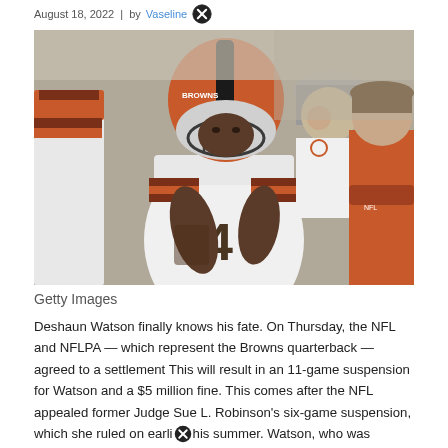August 18, 2022 | by Vaseline
[Figure (photo): Deshaun Watson wearing Cleveland Browns #4 jersey and orange helmet, standing on sideline with teammates and a coach in an orange shirt]
Getty Images
Deshaun Watson finally knows his fate. On Thursday, the NFL and NFLPA — which represent the Browns quarterback — agreed to a settlement This will result in an 11-game suspension for Watson and a $5 million fine. This comes after the NFL appealed former Judge Sue L. Robinson's six-game suspension, which she ruled on earli… this summer. Watson, who was